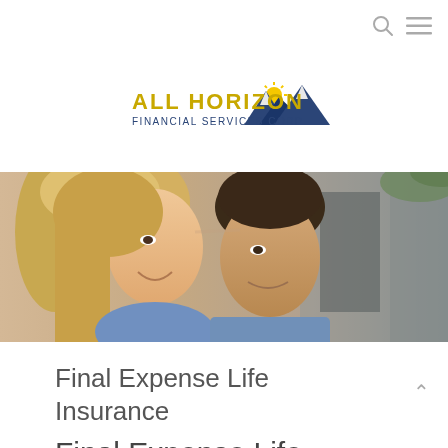[Figure (logo): All Horizon Financial Services Corp logo with mountain and sun graphic]
[Figure (photo): A smiling couple facing each other closely, banner photo for Final Expense Life Insurance page]
Final Expense Life Insurance
Final Expense Life